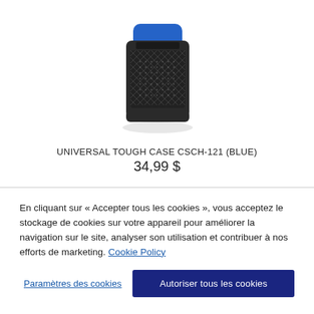[Figure (photo): Product photo of a black and blue UNIVERSAL TOUGH CASE CSCH-121, a Bluetooth speaker case with a crosshatch/diamond pattern mesh grille and a blue silicone top band.]
UNIVERSAL TOUGH CASE CSCH-121 (BLUE)
34,99 $
En cliquant sur « Accepter tous les cookies », vous acceptez le stockage de cookies sur votre appareil pour améliorer la navigation sur le site, analyser son utilisation et contribuer à nos efforts de marketing. Cookie Policy
Paramètres des cookies
Autoriser tous les cookies